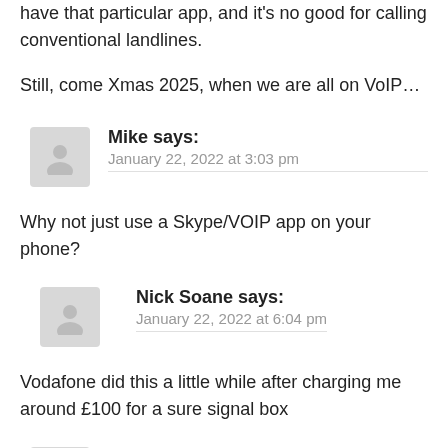have that particular app, and it's no good for calling conventional landlines.
Still, come Xmas 2025, when we are all on VoIP…
Mike says:
January 22, 2022 at 3:03 pm
Why not just use a Skype/VOIP app on your phone?
Nick Soane says:
January 22, 2022 at 6:04 pm
Vodafone did this a little while after charging me around £100 for a sure signal box
Lexx says: